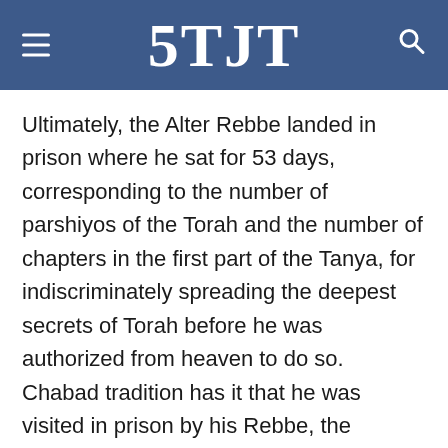5TJT
Ultimately, the Alter Rebbe landed in prison where he sat for 53 days, corresponding to the number of parshiyos of the Torah and the number of chapters in the first part of the Tanya, for indiscriminately spreading the deepest secrets of Torah before he was authorized from heaven to do so. Chabad tradition has it that he was visited in prison by his Rebbe, the Maggid of Mezritch, and the Ba'al Shem Tov, who had arrived posthumously but physically to tell him of the heavenly decree that caused him to be arrested and incarcerated. The Alter Rebbe asked them if that meant he should cease teaching chassidus when he